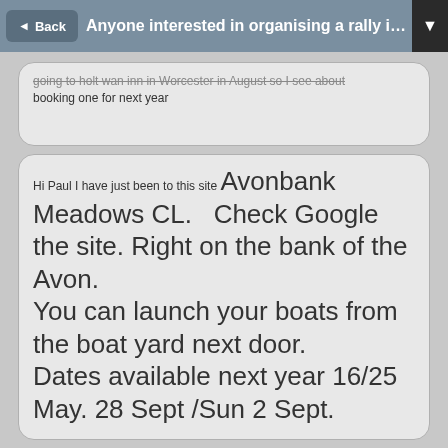Anyone interested in organising a rally in 20...
going to holt wan inn in Worcester in August so I see about booking one for next year
Hi Paul I have just been to this site Avonbank Meadows CL. Check Google the site. Right on the bank of the Avon. You can launch your boats from the boat yard next door. Dates available next year 16/25 May. 28 Sept /Sun 2 Sept.
Boat yard charges £25 to launch from his slipway and as far as I'm aware the CL owner John is not on good terms with the boat yard.
by Sponsored content